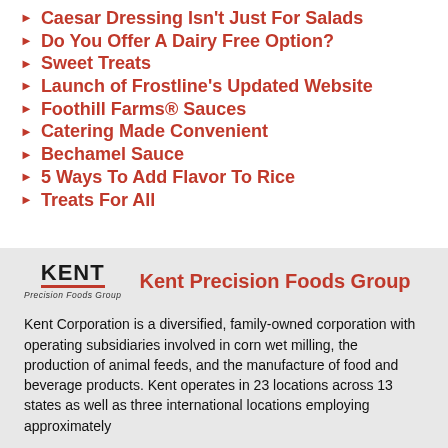Caesar Dressing Isn't Just For Salads
Do You Offer A Dairy Free Option?
Sweet Treats
Launch of Frostline's Updated Website
Foothill Farms® Sauces
Catering Made Convenient
Bechamel Sauce
5 Ways To Add Flavor To Rice
Treats For All
[Figure (logo): Kent Precision Foods Group logo with KENT text and Precision Foods Group subtext]
Kent Precision Foods Group
Kent Corporation is a diversified, family-owned corporation with operating subsidiaries involved in corn wet milling, the production of animal feeds, and the manufacture of food and beverage products. Kent operates in 23 locations across 13 states as well as three international locations employing approximately